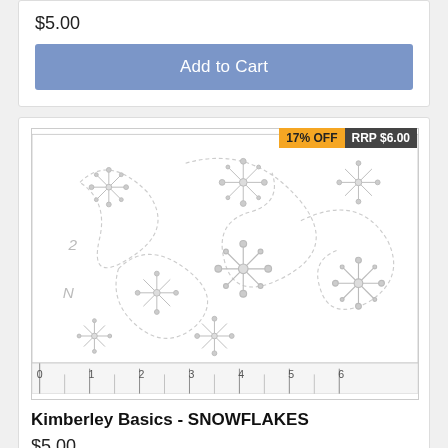$5.00
Add to Cart
[Figure (illustration): Snowflake quilting pattern on fabric with ruler at bottom showing measurements 0-6 inches. Light grey swirling dashed stitch lines with snowflake motifs. Discount badges: 17% OFF and RRP $6.00.]
Kimberley Basics - SNOWFLAKES
$5.00